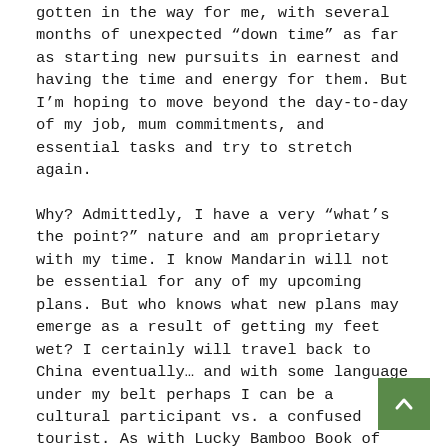gotten in the way for me, with several months of unexpected “down time” as far as starting new pursuits in earnest and having the time and energy for them. But I’m hoping to move beyond the day-to-day of my job, mum commitments, and essential tasks and try to stretch again.
Why? Admittedly, I have a very “what’s the point?” nature and am proprietary with my time. I know Mandarin will not be essential for any of my upcoming plans. But who knows what new plans may emerge as a result of getting my feet wet? I certainly will travel back to China eventually… and with some language under my belt perhaps I can be a cultural participant vs. a confused tourist. As with Lucky Bamboo Book of Crafts, knowing some Mandarin will reinforce to my daughter the importance of our multicultural world view,